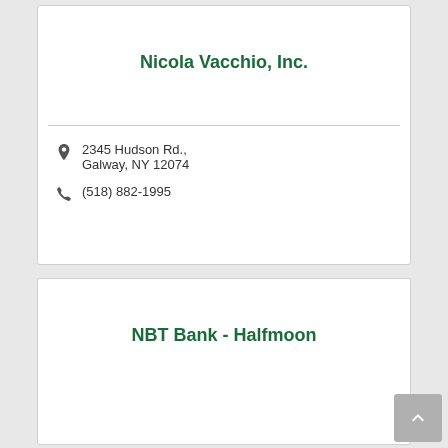Nicola Vacchio, Inc.
2345 Hudson Rd., Galway, NY 12074
(518) 882-1995
NBT Bank - Halfmoon